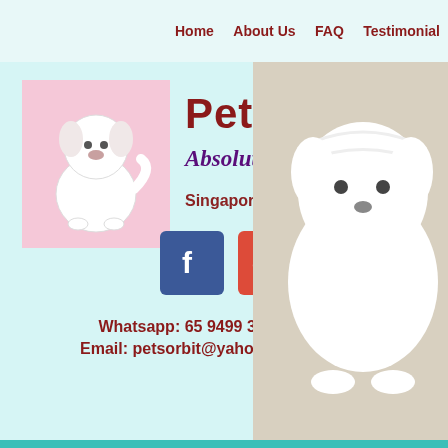Home   About Us   FAQ   Testimonial
[Figure (illustration): White fluffy dog sitting on pink background]
Pets Orbit
Absolute care !
Singapore
[Figure (illustration): Social media icons: Facebook, Google+, Instagram]
Whatsapp: 65 9499 3409
Email: petsorbit@yahoo.com
[Figure (photo): White fluffy puppy (Maltese or similar) looking downward]
All Posts   Anecdotes